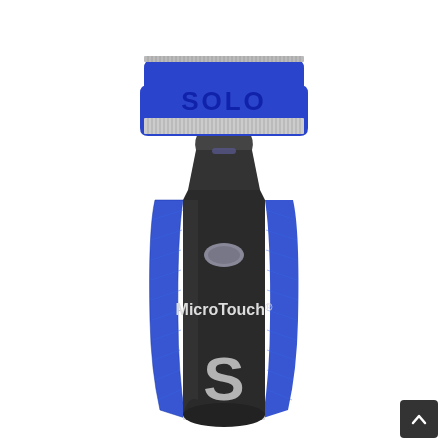[Figure (photo): Product photo of a MicroTouch Solo electric shaver/trimmer. The device has a blue and black body with blue textured grip panels on sides, a large silver 'S' logo near the bottom, 'MicroTouch®' branding in the middle, a gray oval button, and a blue razor head at the top with 'SOLO' embossed in the blue cartridge holder and a silver/chrome blade with fine teeth.]